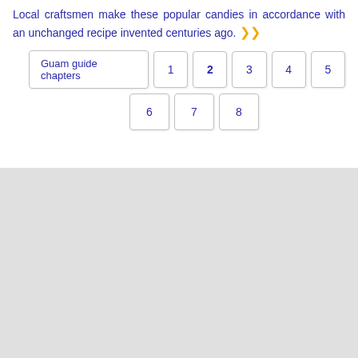Local craftsmen make these popular candies in accordance with an unchanged recipe invented centuries ago. ▶▶
Guam guide chapters 1 2 3 4 5 6 7 8